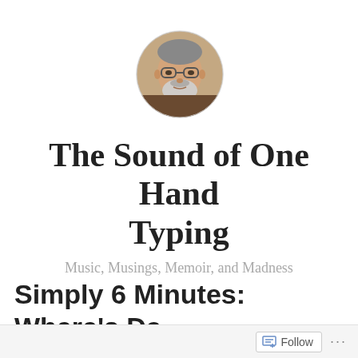[Figure (photo): Circular avatar photo of an older man with gray beard and glasses]
The Sound of One Hand Typing
Music, Musings, Memoir, and Madness
Simply 6 Minutes: Where's Da
Follow ...